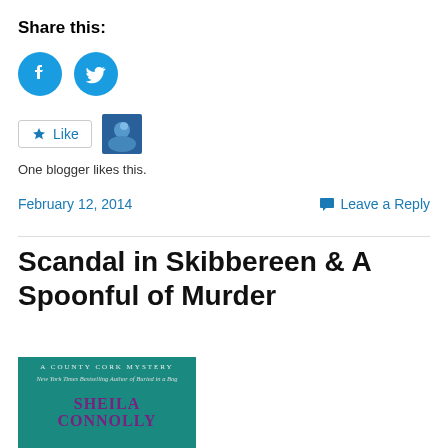Share this:
[Figure (other): Facebook and Twitter social sharing icon buttons (blue circles with white icons)]
[Figure (other): WordPress Like button with star icon and a blogger avatar thumbnail. Text below: One blogger likes this.]
One blogger likes this.
February 12, 2014
Leave a Reply
Scandal in Skibbereen & A Spoonful of Murder
[Figure (photo): Book cover for 'Scandal in Skibbereen' – A County Cork Mystery by Sheila Connolly. Teal/dark green header with white text reading 'A COUNTY CORK MYSTERY' and italic text 'New York Times Bestselling Author of Buried in a Bog'. Author name SHEILA CONNOLLY in large purple letters.]